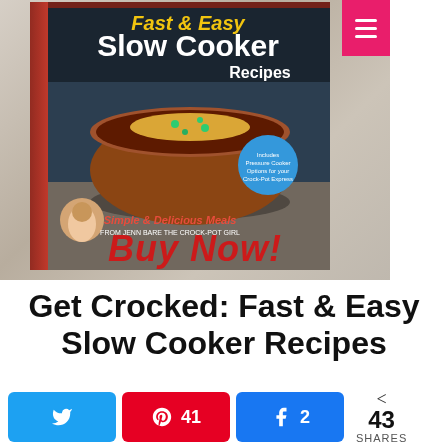[Figure (photo): Book cover of 'Get Crocked: Fast & Easy Slow Cooker Recipes' showing a bowl of chili with cheese and green onions on a wood surface with kitchen items, with a 'Buy Now!' call to action in red italic text. Pink hamburger menu button in top right corner.]
Get Crocked: Fast & Easy Slow Cooker Recipes
[Figure (other): Pink 'Read More »' button partially visible at bottom of content area]
< 43 SHARES
Twitter share button
41 Pinterest shares
2 Facebook shares